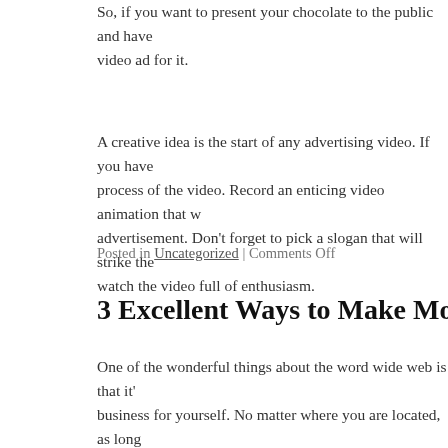So, if you want to present your chocolate to the public and have a video ad for it.
A creative idea is the start of any advertising video. If you have process of the video. Record an enticing video animation that w advertisement. Don't forget to pick a slogan that will strike the watch the video full of enthusiasm.
Posted in Uncategorized | Comments Off
3 Excellent Ways to Make Money Online
One of the wonderful things about the word wide web is that it's business for yourself. No matter where you are located, as long connection, you can produce money online. That cash can free you 9 to 5 job, enable you to travel, engage in hobbies, and dedicate the second best part regarding making money online is the fact that do it! That means that whole lot more than most likely there is a web business chance that is attractive to you. Here I'll list thro